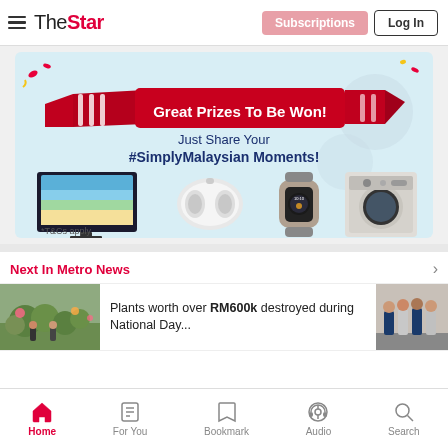The Star — Subscriptions | Log In
[Figure (illustration): Promotional banner: 'Great Prizes To Be Won! Just Share Your #SimplyMalaysian Moments!' with images of a TV, earbuds, smartwatch, and washing machine. *T&Cs apply]
Next In Metro News
[Figure (photo): Thumbnail photo of plants/garden scene]
Plants worth over RM600k destroyed during National Day...
[Figure (photo): Thumbnail photo of a group of people]
Home | For You | Bookmark | Audio | Search